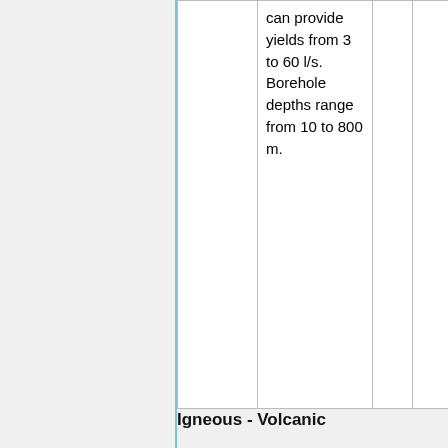| Named Aquifers | General Description | Water quantity issues | Water quality issues |
| --- | --- | --- | --- |
|  | can provide yields from 3 to 60 l/s. Borehole depths range from 10 to 800 m. |  |  |
Igneous - Volcanic
| Named Aquifers | General Description | Water quantity issues | Water quality issues |
| --- | --- | --- | --- |
|  | Igneous volcanic aquifers provide low to moderate yields, usually |  |  |